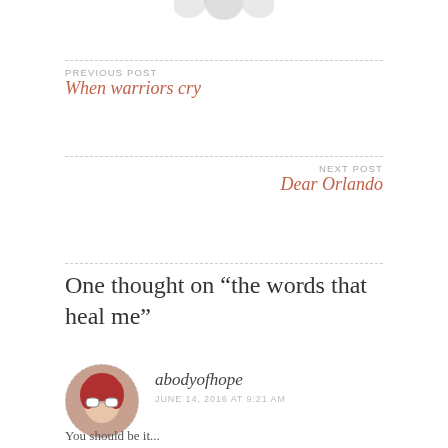[Figure (illustration): Partial view of circular avatar/logo images at top of page]
PREVIOUS POST
When warriors cry
NEXT POST
Dear Orlando
One thought on “the words that heal me”
[Figure (photo): Circular avatar photo of a person wearing white sunglasses with red/curly hair]
abodyofhope
JUNE 14, 2016 AT 9:21 AM
You should be it...